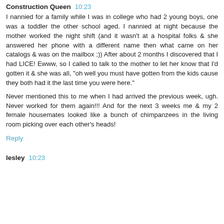Construction Queen 10:23
I nannied for a family while I was in college who had 2 young boys, one was a toddler the other school aged. I nannied at night because the mother worked the night shift (and it wasn't at a hospital folks & she answered her phone with a different name then what came on her catalogs & was on the mailbox ;)) After about 2 months I discovered that I had LICE! Ewww, so I called to talk to the mother to let her know that I'd gotten it & she was all, "oh well you must have gotten from the kids cause they both had it the last time you were here."
Never mentioned this to me when I had arrived the previous week, ugh. Never worked for them again!!! And for the next 3 weeks me & my 2 female housemates looked like a bunch of chimpanzees in the living room picking over each other's heads!
Reply
lesley 10:23